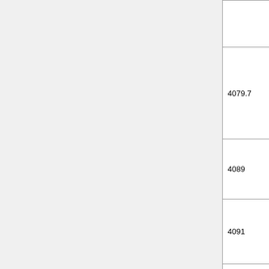| Frequency | Callsign | Location | Notes |
| --- | --- | --- | --- |
|  |  | Arkansas | 24/7 (YouTube video ↗) |
| 4079.7 | TMPnnn | SW Arizona | The TEMPERATURE BEACON Temper deg. F. 'TMP' th digit te every 1 1 watt [...] |
| 4089 | · | Death Valley N.P. | About 8 dits/min 500 mW vee. dip |
| 4091 | DM | N. America | No furth (Source Underg Forum) |
| 4094.2 | PA | Arkansas | Solar pe mW Dip |